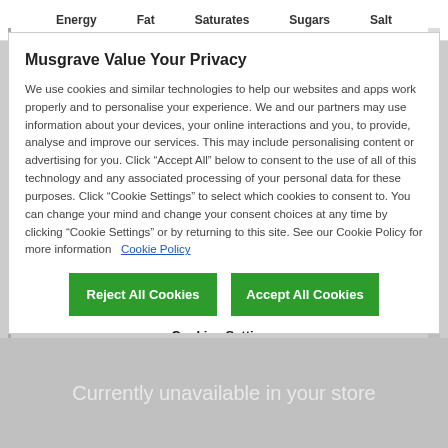Energy   Fat   Saturates   Sugars   Salt
Musgrave Value Your Privacy
We use cookies and similar technologies to help our websites and apps work properly and to personalise your experience. We and our partners may use information about your devices, your online interactions and you, to provide, analyse and improve our services. This may include personalising content or advertising for you. Click “Accept All” below to consent to the use of all of this technology and any associated processing of your personal data for these purposes. Click “Cookie Settings” to select which cookies to consent to. You can change your mind and change your consent choices at any time by clicking “Cookie Settings” or by returning to this site. See our Cookie Policy for more information  Cookie Policy
Reject All Cookies
Accept All Cookies
Cookies Settings
Currently unavailable in your store